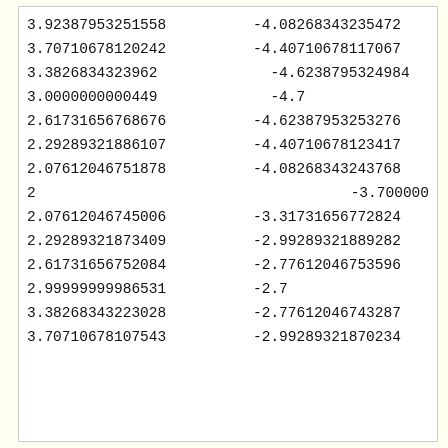| 3.92387953251558 | -4.08268343235472 |
| 3.70710678120242 | -4.40710678117067 |
| 3.3826834323962 | -4.6238795324984 |
| 3.0000000000449 | -4.7 |
| 2.61731656768676 | -4.62387953253276 |
| 2.29289321886107 | -4.40710678123417 |
| 2.07612046751878 | -4.08268343243768 |
| 2 | -3.700000... |
| 2.07612046745006 | -3.31731656772824 |
| 2.29289321873409 | -2.99289321889282 |
| 2.61731656752084 | -2.77612046753596 |
| 2.99999999986531 | -2.7 |
| 3.38268343223028 | -2.77612046743287 |
| 3.70710678107543 | -2.99289321870234 |